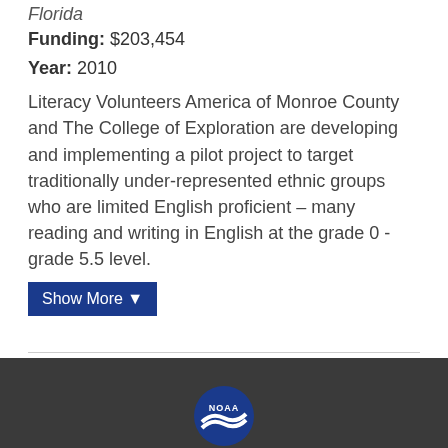Florida
Funding: $203,454
Year: 2010
Literacy Volunteers America of Monroe County and The College of Exploration are developing and implementing a pilot project to target traditionally under-represented ethnic groups who are limited English proficient – many reading and writing in English at the grade 0 - grade 5.5 level.
Show More
NOAA logo